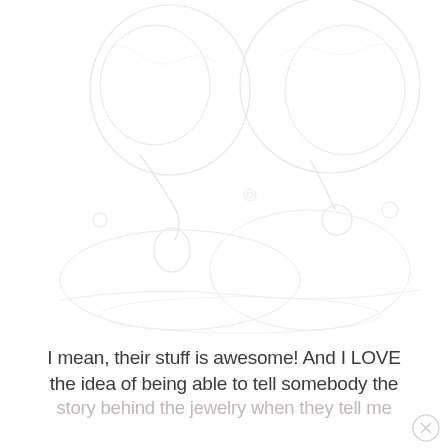[Figure (photo): Very faint, nearly white image of jewelry pieces — necklaces and pendants arranged on a light background, appearing almost washed out.]
I mean, their stuff is awesome!  And I LOVE the idea of being able to tell somebody the story behind the jewelry when they tell me